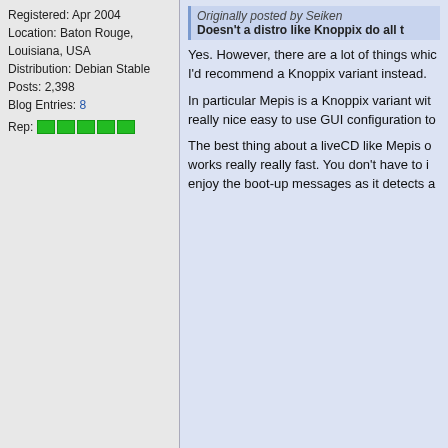Registered: Apr 2004
Location: Baton Rouge, Louisiana, USA
Distribution: Debian Stable
Posts: 2,398
Blog Entries: 8
Rep: [5 green blocks]
Originally posted by Seiken
Doesn't a distro like Knoppix do all t

Yes. However, there are a lot of things whic I'd recommend a Knoppix variant instead.

In particular Mepis is a Knoppix variant wit really nice easy to use GUI configuration to

The best thing about a liveCD like Mepis o works really really fast. You don't have to i enjoy the boot-up messages as it detects a
02-17-2005, 11:01 AM
IsaacKuo
Senior Member

Registered: Apr 2004
Location: Baton Rouge, Louisiana, USA
Distribution: Debian Stable
Posts: 2,398
Blog Entries: 8
Rep: [5 green blocks]
Oh--another thing about Mepis or other Kn at the same time as installing it. This may s pleasant to play Frozen Bubble while waiti something messes up, you can open up a LinuxQuestions.org to ask for help without
02-17-2005, 11:24 AM
Greg Haynes
reccomendations